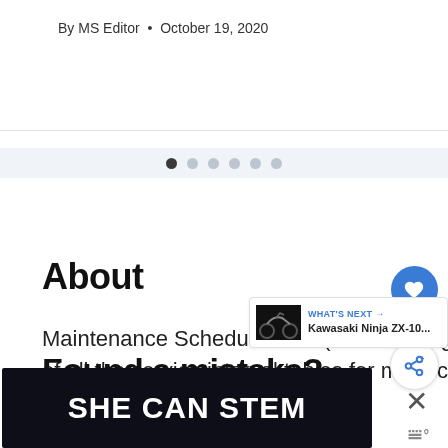By MS Editor • October 19, 2020
[Figure (other): Pagination dots — 6 circles, first filled dark, rest grey]
About
Maintenance Schedules is a (work-in-progress) catalogue of all the service interval tables for motorcycles and cars. Read more in the about section.
[Figure (other): Heart/like button (blue circle with heart icon), count '2', share button]
[Figure (other): WHAT'S NEXT → Kawasaki Ninja ZX-10... promotional card with motorcycle image]
Found a mistake?
[Figure (other): Advertisement banner: SHE CAN STEM on dark background]
[Figure (other): Close button X and site logo]